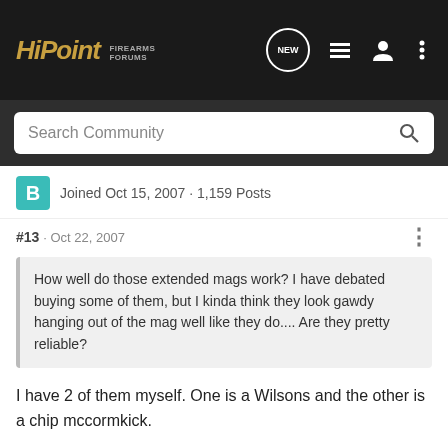[Figure (logo): HiPoint Firearms Forums logo in gold italic on dark background]
Search Community
Joined Oct 15, 2007 · 1,159 Posts
#13 · Oct 22, 2007
How well do those extended mags work? I have debated buying some of them, but I kinda think they look gawdy hanging out of the mag well like they do.... Are they pretty reliable?
I have 2 of them myself. One is a Wilsons and the other is a chip mccormkick.
They are both considered good brands of magazines.
Anyway, they are both 10 rounders and they work flawlessly.
Yes, they look like heck but its nice being able to use 10